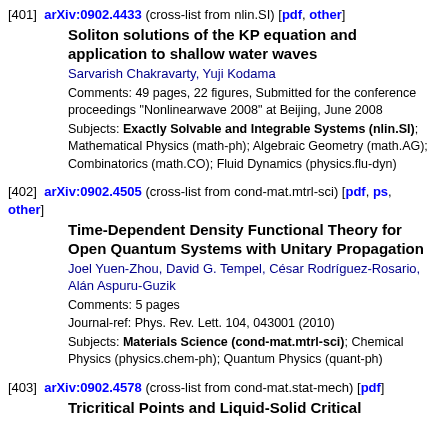[401] arXiv:0902.4433 (cross-list from nlin.SI) [pdf, other]
Soliton solutions of the KP equation and application to shallow water waves
Sarvarish Chakravarty, Yuji Kodama
Comments: 49 pages, 22 figures, Submitted for the conference proceedings "Nonlinearwave 2008" at Beijing, June 2008
Subjects: Exactly Solvable and Integrable Systems (nlin.SI); Mathematical Physics (math-ph); Algebraic Geometry (math.AG); Combinatorics (math.CO); Fluid Dynamics (physics.flu-dyn)
[402] arXiv:0902.4505 (cross-list from cond-mat.mtrl-sci) [pdf, ps, other]
Time-Dependent Density Functional Theory for Open Quantum Systems with Unitary Propagation
Joel Yuen-Zhou, David G. Tempel, César Rodríguez-Rosario, Alán Aspuru-Guzik
Comments: 5 pages
Journal-ref: Phys. Rev. Lett. 104, 043001 (2010)
Subjects: Materials Science (cond-mat.mtrl-sci); Chemical Physics (physics.chem-ph); Quantum Physics (quant-ph)
[403] arXiv:0902.4578 (cross-list from cond-mat.stat-mech) [pdf]
Tricritical Points and Liquid-Solid Critical